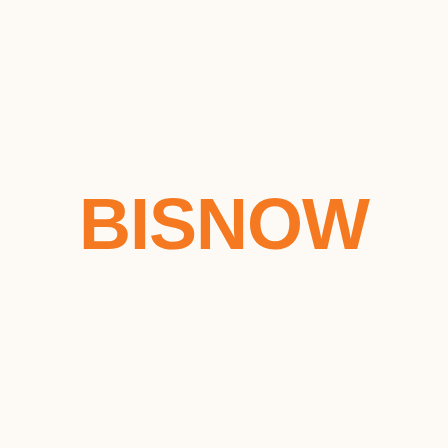[Figure (logo): Bisnow logo — bold orange uppercase sans-serif text reading BISNOW on a cream/off-white background]